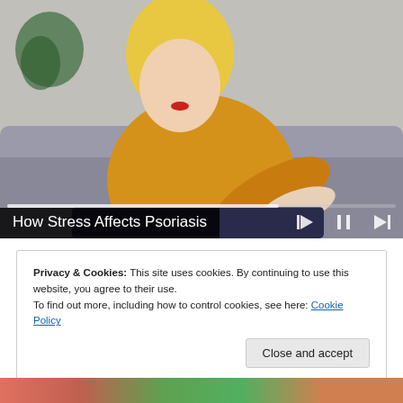[Figure (photo): Video player showing a blonde woman in a yellow knitted sweater sitting on a grey sofa, scratching or touching her elbow, with video playback controls visible]
How Stress Affects Psoriasis
Privacy & Cookies: This site uses cookies. By continuing to use this website, you agree to their use.
To find out more, including how to control cookies, see here: Cookie Policy
Close and accept
[Figure (photo): Partial image of hands visible at bottom of page]